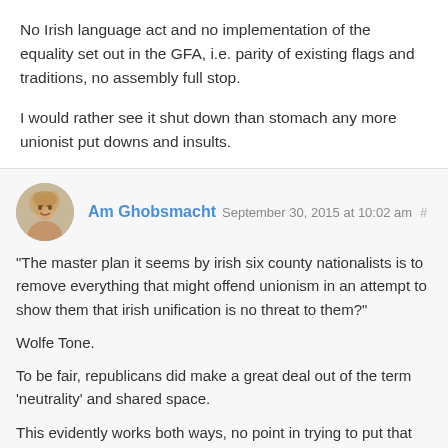No Irish language act and no implementation of the equality set out in the GFA, i.e. parity of existing flags and traditions, no assembly full stop.
I would rather see it shut down than stomach any more unionist put downs and insults.
Am Ghobsmacht September 30, 2015 at 10:02 am #
“The master plan it seems by irish six county nationalists is to remove everything that might offend unionism in an attempt to show them that irish unification is no threat to them?”
Wolfe Tone.
To be fair, republicans did make a great deal out of the term ‘neutrality’ and shared space.
This evidently works both ways, no point in trying to put that genie back in the bottle.